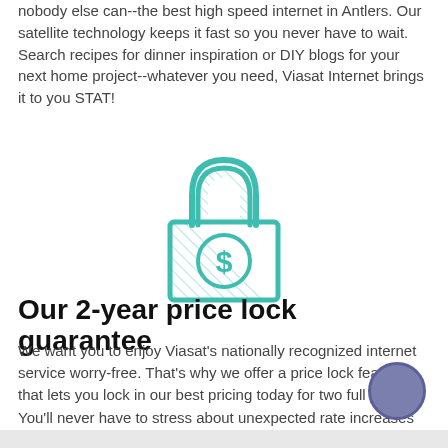nobody else can--the best high speed internet in Antlers. Our satellite technology keeps it fast so you never have to wait. Search recipes for dinner inspiration or DIY blogs for your next home project--whatever you need, Viasat Internet brings it to you STAT!
[Figure (illustration): A teal/turquoise outlined padlock icon with a dollar sign on the body, drawn in a line-art style with diagonal hatching fill.]
Our 2-year price lock guarantee
We want you to enjoy Viasat's nationally recognized internet service worry-free. That's why we offer a price lock feature that lets you lock in our best pricing today for two full years. You'll never have to stress about unexpected rate increases with Viasat!